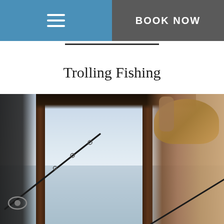☰  BOOK NOW
Trolling Fishing
[Figure (photo): A woman in a straw hat and bikini top standing on a fishing boat deck, holding a fishing rod, with calm water in the background. A wooden post divides the image. A person fishing with a spinning reel is visible on the left side.]